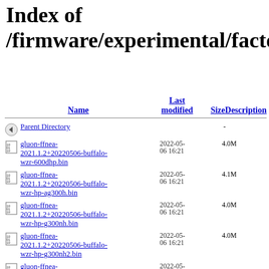Index of /firmware/experimental/factory
| Name | Last modified | Size | Description |
| --- | --- | --- | --- |
| Parent Directory |  | - |  |
| gluon-ffnea-2021.1.2+20220506-buffalo-wzr-600dhp.bin | 2022-05-06 16:21 | 4.0M |  |
| gluon-ffnea-2021.1.2+20220506-buffalo-wzr-hp-ag300h.bin | 2022-05-06 16:21 | 4.1M |  |
| gluon-ffnea-2021.1.2+20220506-buffalo-wzr-hp-g300nh.bin | 2022-05-06 16:21 | 4.0M |  |
| gluon-ffnea-2021.1.2+20220506-buffalo-wzr-hp-g300nh2.bin | 2022-05-06 16:21 | 4.0M |  |
| gluon-ffnea-2021.1.2+20220506-buffalo-... | 2022-05-06 |  |  |